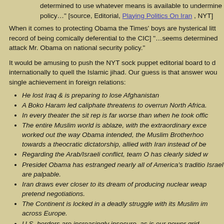determined to use whatever means is available to undermine policy…" [source, Editorial, Playing Politics On Iran, NYT]
When it comes to protecting Obama the Times' boys are hysterical litt record of being comically deferential to the CIC] "…seems determined attack Mr. Obama on national security policy."
It would be amusing to push the NYT sock puppet editorial board to d internationally to quell the Islamic jihad. Our guess is that answer wou single achievement in foreign relations:
He lost Iraq & is preparing to lose Afghanistan
A Boko Haram led caliphate threatens to overrun North Africa.
In every theater the sit rep is far worse than when he took offic
The entire Muslim world is ablaze, with the extraordinary exce worked out the way Obama intended, the Muslim Brotherhoo towards a theocratic dictatorship, allied with Iran instead of be
Regarding the Arab/Israeli conflict, team O has clearly sided w
Presidet Obama has estranged nearly all of America's traditio Israel are palpable.
Iran draws ever closer to its dream of producing nuclear weap pretend negotiations.
The Continent is locked in a deadly struggle with its Muslim im across Europe.
U.S. borders are increasingly insecure, as is our power grid.
The threat of domestic Islamic terrorism in the U.S. has increa massacre, Boston Marathon bombing, the beheading of an Ok murder, dozens of foiled bombing plots and a landscape of inc failed leadership.
To put it kindly, this is not a record of achievement.
But the Times' outdoes itself in asserting the most outlandish of its cla